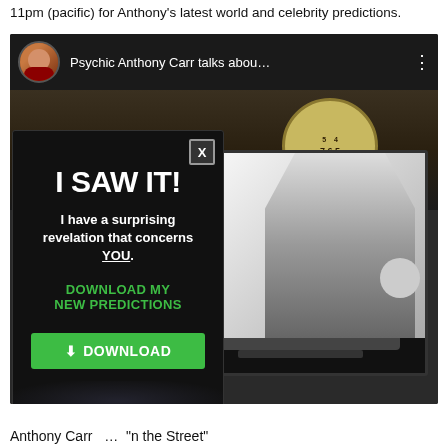11pm (pacific) for Anthony's latest world and celebrity predictions.
[Figure (screenshot): YouTube video embed showing 'Psychic Anthony Carr talks abou...' with a thumbnail of a man in front of a TV screen, clock in background. A popup overlay is visible showing 'I SAW IT! I have a surprising revelation that concerns YOU. DOWNLOAD MY NEW PREDICTIONS' with a green DOWNLOAD button.]
Anthony Carr ... "on the Street"